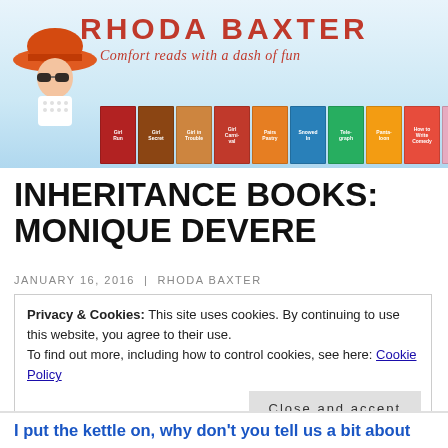[Figure (illustration): Rhoda Baxter website banner with red text heading, italic tagline 'Comfort reads with a dash of fun', illustrated woman with big orange hat and sunglasses, and a row of book cover thumbnails]
INHERITANCE BOOKS: MONIQUE DEVERE
JANUARY 16, 2016 | RHODA BAXTER
Privacy & Cookies: This site uses cookies. By continuing to use this website, you agree to their use.
To find out more, including how to control cookies, see here: Cookie Policy
Close and accept
I put the kettle on, why don't you tell us a bit about